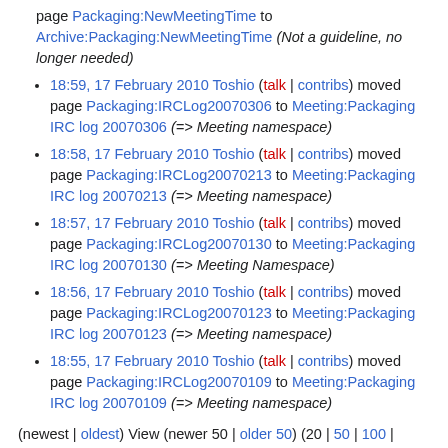page Packaging:NewMeetingTime to Archive:Packaging:NewMeetingTime (Not a guideline, no longer needed)
18:59, 17 February 2010 Toshio (talk | contribs) moved page Packaging:IRCLog20070306 to Meeting:Packaging IRC log 20070306 (=> Meeting namespace)
18:58, 17 February 2010 Toshio (talk | contribs) moved page Packaging:IRCLog20070213 to Meeting:Packaging IRC log 20070213 (=> Meeting namespace)
18:57, 17 February 2010 Toshio (talk | contribs) moved page Packaging:IRCLog20070130 to Meeting:Packaging IRC log 20070130 (=> Meeting Namespace)
18:56, 17 February 2010 Toshio (talk | contribs) moved page Packaging:IRCLog20070123 to Meeting:Packaging IRC log 20070123 (=> Meeting namespace)
18:55, 17 February 2010 Toshio (talk | contribs) moved page Packaging:IRCLog20070109 to Meeting:Packaging IRC log 20070109 (=> Meeting namespace)
(newest | oldest) View (newer 50 | older 50) (20 | 50 | 100 | 250 | 500)